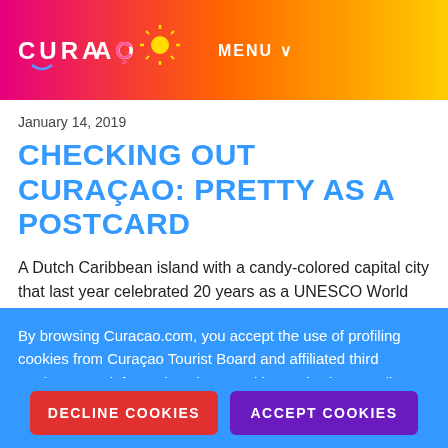CURAÇAO  MENU ∨
January 14, 2019
CHECKING OUT CURAÇAO: PRETTY AS A POSTCARD
A Dutch Caribbean island with a candy-colored capital city that last year celebrated 20 years as a UNESCO World Heritage site, Curacao sits pretty 70 miles east of Aruba and 35 miles north of Venezuela. ...
By browsing Curacao.com, you accept the use of profiling cookies from Curaçao Tourist Board and affiliated third parties. More information about cookies and Privacy Policy.
DECLINE COOKIES
ACCEPT COOKIES